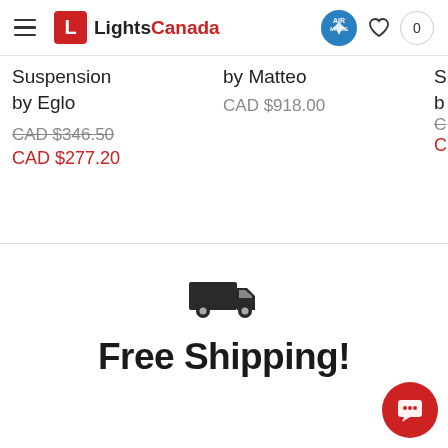LightsCanada — navigation header with hamburger menu, logo, Air Miles badge, heart icon, cart (0)
Suspension
by Eglo
CAD $346.50
CAD $277.20
by Matteo
CAD $918.00
[Figure (illustration): Delivery truck icon (black silhouette)]
Free Shipping!